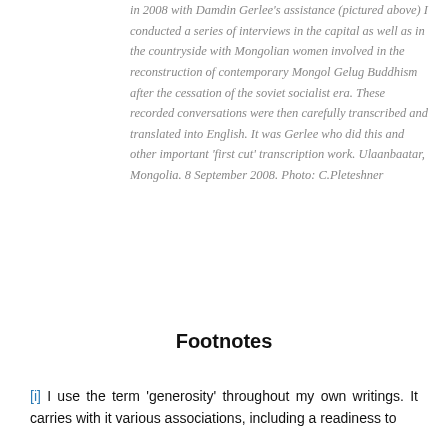in 2008 with Damdin Gerlee's assistance (pictured above) I conducted a series of interviews in the capital as well as in the countryside with Mongolian women involved in the reconstruction of contemporary Mongol Gelug Buddhism after the cessation of the soviet socialist era. These recorded conversations were then carefully transcribed and translated into English. It was Gerlee who did this and other important 'first cut' transcription work. Ulaanbaatar, Mongolia. 8 September 2008. Photo: C.Pleteshner
Footnotes
[i] I use the term 'generosity' throughout my own writings. It carries with it various associations, including a readiness to